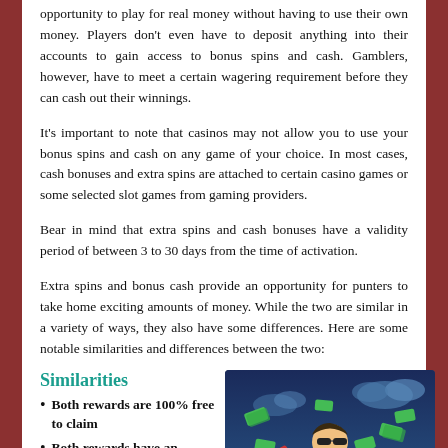opportunity to play for real money without having to use their own money. Players don't even have to deposit anything into their accounts to gain access to bonus spins and cash. Gamblers, however, have to meet a certain wagering requirement before they can cash out their winnings.
It's important to note that casinos may not allow you to use your bonus spins and cash on any game of your choice. In most cases, cash bonuses and extra spins are attached to certain casino games or some selected slot games from gaming providers.
Bear in mind that extra spins and cash bonuses have a validity period of between 3 to 30 days from the time of activation.
Extra spins and bonus cash provide an opportunity for punters to take home exciting amounts of money. While the two are similar in a variety of ways, they also have some differences. Here are some notable similarities and differences between the two:
Similarities
Both rewards are 100% free to claim
Both rewards have an expiry period
Players don't have to deposit anything to
[Figure (illustration): Cartoon illustration of a person sitting on gold blocks surrounded by flying money/cash bills against a blue sky background with clouds]